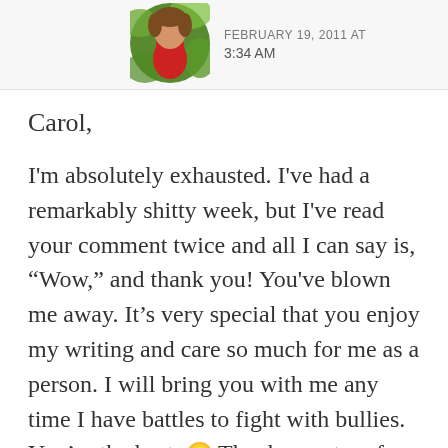[Figure (photo): Circular avatar photo of a person in a red tank top with green foliage background, alongside a partially visible timestamp reading FEBRUARY 19, 2011 AT 3:34 AM]
FEBRUARY 19, 2011 AT 3:34 AM
Carol,
I'm absolutely exhausted. I've had a remarkably shitty week, but I've read your comment twice and all I can say is, “Wow,” and thank you! You've blown me away. It’s very special that you enjoy my writing and care so much for me as a person. I will bring you with me any time I have battles to fight with bullies. You’re the best. 🙂 Thank you, too, for subscribing to